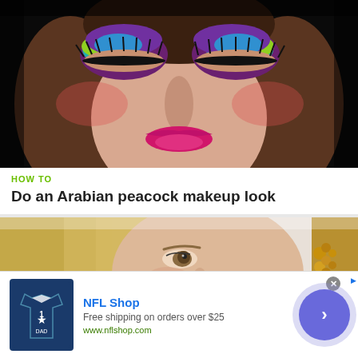[Figure (photo): Close-up of a woman's face with dramatic Arabian peacock makeup: colorful eyeshadow in purple, teal, green and yellow on closed eyes with heavy black eyeliner and bold lashes, rosy blush cheeks, and bright pink-red lips against a dark black background]
HOW TO
Do an Arabian peacock makeup look
[Figure (photo): Close-up of a blonde woman's face with natural makeup, wearing beaded gold earrings, looking to the side]
[Figure (other): Advertisement banner for NFL Shop. Features a Dallas Cowboys jersey image on the left, text 'NFL Shop', 'Free shipping on orders over $25', 'www.nflshop.com', and a purple circle button with a right-pointing chevron arrow on the right.]